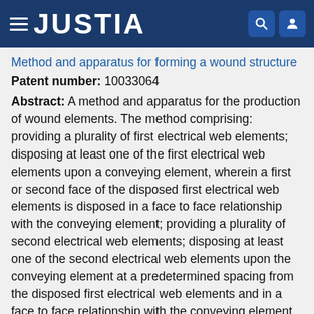JUSTIA
Method and apparatus for forming a wound structure
Patent number: 10033064
Abstract: A method and apparatus for the production of wound elements. The method comprising: providing a plurality of first electrical web elements; disposing at least one of the first electrical web elements upon a conveying element, wherein a first or second face of the disposed first electrical web elements is disposed in a face to face relationship with the conveying element; providing a plurality of second electrical web elements; disposing at least one of the second electrical web elements upon the conveying element at a predetermined spacing from the disposed first electrical web elements and in a face to face relationship with the conveying element, wherein the predetermined spacing is at least as long as the length of the first electrical web element; and disposing an electrically insulating